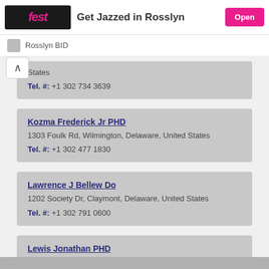Get Jazzed in Rosslyn | Open | Rosslyn BID
States
Tel. #: +1 302 734 3639
Kozma Frederick Jr PHD
1303 Foulk Rd, Wilmington, Delaware, United States
Tel. #: +1 302 477 1830
Lawrence J Bellew Do
1202 Society Dr, Claymont, Delaware, United States
Tel. #: +1 302 791 0600
Lewis Jonathan PHD
3526 Silverside Rd, Wilmington, Delaware, United States